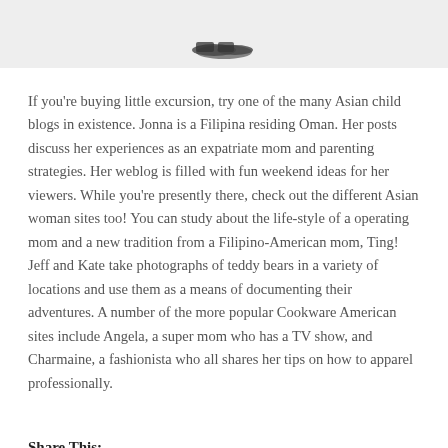[Figure (photo): Top portion of a photo, mostly white/grey background with a small dark object (possibly shoes) visible at the bottom center of the crop]
If you're buying little excursion, try one of the many Asian child blogs in existence. Jonna is a Filipina residing Oman. Her posts discuss her experiences as an expatriate mom and parenting strategies. Her weblog is filled with fun weekend ideas for her viewers. While you're presently there, check out the different Asian woman sites too! You can study about the life-style of a operating mom and a new tradition from a Filipino-American mom, Ting! Jeff and Kate take photographs of teddy bears in a variety of locations and use them as a means of documenting their adventures. A number of the more popular Cookware American sites include Angela, a super mom who has a TV show, and Charmaine, a fashionista who all shares her tips on how to apparel professionally.
Share This: